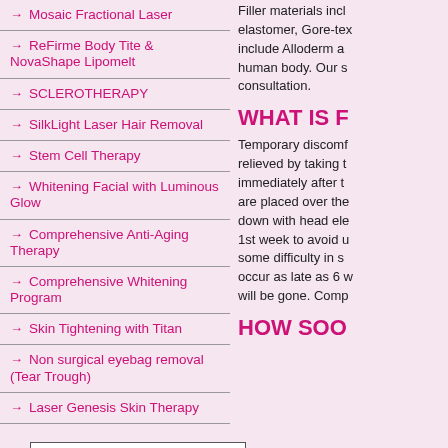→ Mosaic Fractional Laser
→ ReFirme Body Tite & NovaShape Lipomelt
→ SCLEROTHERAPY
→ SilkLight Laser Hair Removal
→ Stem Cell Therapy
→ Whitening Facial with Luminous Glow
→ Comprehensive Anti-Aging Therapy
→ Comprehensive Whitening Program
→ Skin Tightening with Titan
→ Non surgical eyebag removal (Tear Trough)
→ Laser Genesis Skin Therapy
Filler materials incl elastomer, Gore-tex include Alloderm a human body. Our s consultation.
WHAT IS F
Temporary discomf relieved by taking t immediately after t are placed over the down with head ele 1st week to avoid u some difficulty in s occur as late as 6 w will be gone. Comp
HOW SOO